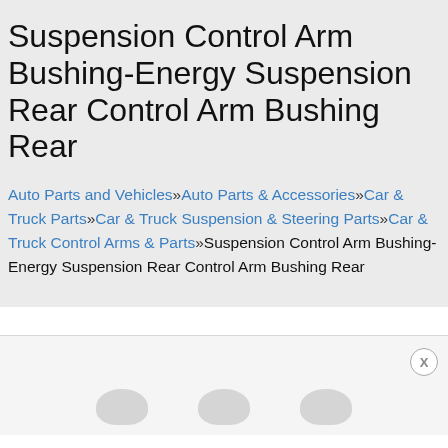Suspension Control Arm Bushing-Energy Suspension Rear Control Arm Bushing Rear
Auto Parts and Vehicles»Auto Parts & Accessories»Car & Truck Parts»Car & Truck Suspension & Steering Parts»Car & Truck Control Arms & Parts»Suspension Control Arm Bushing-Energy Suspension Rear Control Arm Bushing Rear
[Figure (other): Advertisement banner with close button (X) and three partially visible circular product/logo icons at the bottom]